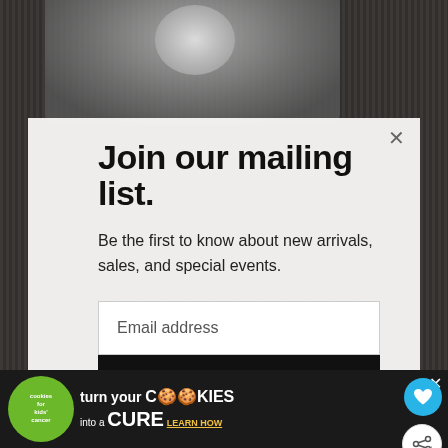[Figure (photo): Background photo of a cat with fuzzy/fluffy appearance against a dark textured background]
Join our mailing list.
Be the first to know about new arrivals, sales, and special events.
Email address
Subscribe
WHAT'S NEXT → Autumn Crochet...
[Figure (infographic): Cookies for Kids Cancer advertisement banner: turn your COOKIES into a CURE LEARN HOW]